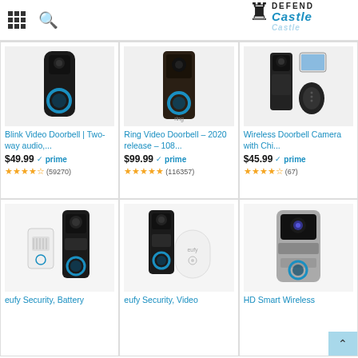Amazon product search results page for video doorbells, with grid icon, search icon, and Defend Castle logo
[Figure (screenshot): Blink Video Doorbell product image - black smart doorbell with blue ring]
Blink Video Doorbell | Two-way audio,...
$49.99 prime (59270 reviews, 4.5 stars)
[Figure (screenshot): Ring Video Doorbell product image - dark bronze smart doorbell with blue ring]
Ring Video Doorbell – 2020 release – 108...
$99.99 prime (116357 reviews, 5 stars)
[Figure (screenshot): Wireless Doorbell Camera with Chime - black doorbell camera with phone and chime accessory]
Wireless Doorbell Camera with Chi...
$45.99 prime (67 reviews, 4.5 stars)
[Figure (screenshot): eufy Security Battery doorbell with chime]
eufy Security, Battery
[Figure (screenshot): eufy Security Video doorbell with HomeBase]
eufy Security, Video
[Figure (screenshot): HD Smart Wireless doorbell - silver and black with blue ring]
HD Smart Wireless